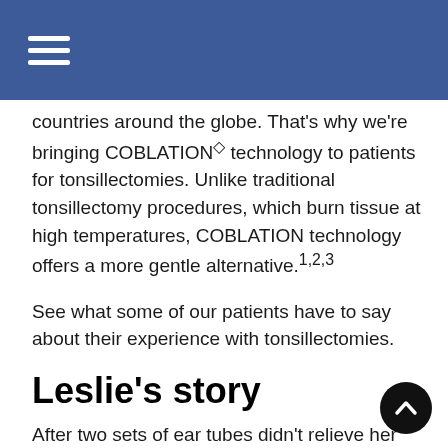countries around the globe. That's why we're bringing COBLATION◇ technology to patients for tonsillectomies. Unlike traditional tonsillectomy procedures, which burn tissue at high temperatures, COBLATION technology offers a more gentle alternative.1,2,3
See what some of our patients have to say about their experience with tonsillectomies.
Leslie's story
After two sets of ear tubes didn't relieve her daughters constant ear infections, their ENT recommend an adenoidectomy and tonsillectomy. After the surgery her daughter was back to being herself...